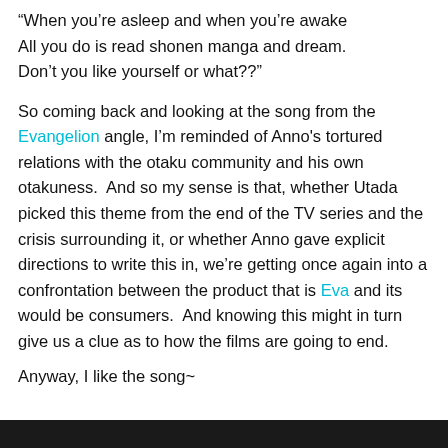“When you’re asleep and when you’re awake All you do is read shonen manga and dream. Don’t you like yourself or what??”
So coming back and looking at the song from the Evangelion angle, I’m reminded of Anno's tortured relations with the otaku community and his own otakuness.  And so my sense is that, whether Utada picked this theme from the end of the TV series and the crisis surrounding it, or whether Anno gave explicit directions to write this in, we’re getting once again into a confrontation between the product that is Eva and its would be consumers.  And knowing this might in turn give us a clue as to how the films are going to end.
Anyway, I like the song~